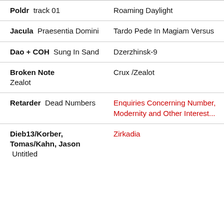| Poldr  track 01 | Roaming Daylight |
| Jacula  Praesentia Domini | Tardo Pede In Magiam Versus |
| Dao + COH  Sung In Sand | Dzerzhinsk-9 |
| Broken Note  Zealot | Crux /Zealot |
| Retarder  Dead Numbers | Enquiries Concerning Number, Modernity and Other Interest... |
| Dieb13/Korber, Tomas/Kahn, Jason  Untitled | Zirkadia |